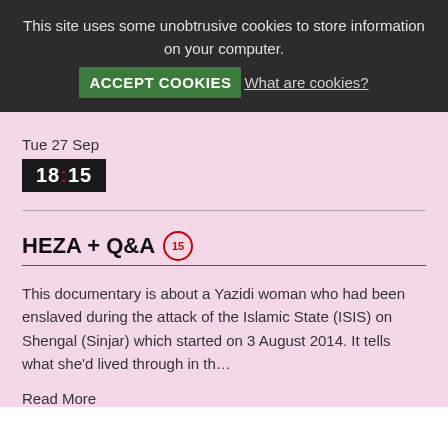This site uses some unobtrusive cookies to store information on your computer.
ACCEPT COOKIES  What are cookies?
Tue 27 Sep
18:15
HEZA + Q&A
This documentary is about a Yazidi woman who had been enslaved during the attack of the Islamic State (ISIS) on Shengal (Sinjar) which started on 3 August 2014. It tells what she'd lived through in th...
Read More